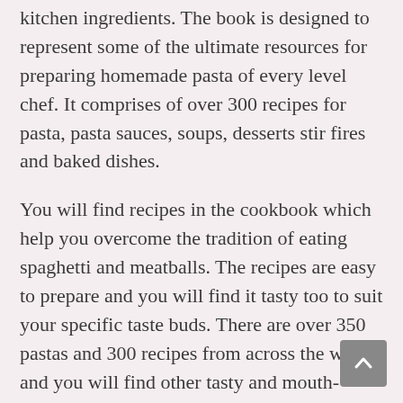kitchen ingredients. The book is designed to represent some of the ultimate resources for preparing homemade pasta of every level chef. It comprises of over 300 recipes for pasta, pasta sauces, soups, desserts stir fires and baked dishes.
You will find recipes in the cookbook which help you overcome the tradition of eating spaghetti and meatballs. The recipes are easy to prepare and you will find it tasty too to suit your specific taste buds. There are over 350 pastas and 300 recipes from across the world and you will find other tasty and mouth-watering dishes mentioned in the cookbook